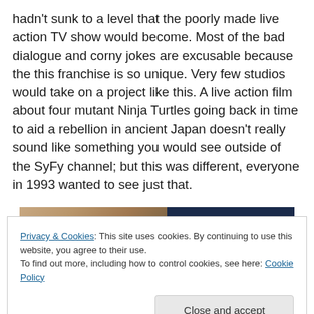hadn't sunk to a level that the poorly made live action TV show would become. Most of the bad dialogue and corny jokes are excusable because the this franchise is so unique. Very few studios would take on a project like this. A live action film about four mutant Ninja Turtles going back in time to aid a rebellion in ancient Japan doesn't really sound like something you would see outside of the SyFy channel; but this was different, everyone in 1993 wanted to see just that.
[Figure (photo): Partial image showing a hand on the left portion and a dark navy blue area on the right portion, likely a movie still or promotional image.]
Privacy & Cookies: This site uses cookies. By continuing to use this website, you agree to their use.
To find out more, including how to control cookies, see here: Cookie Policy
Close and accept